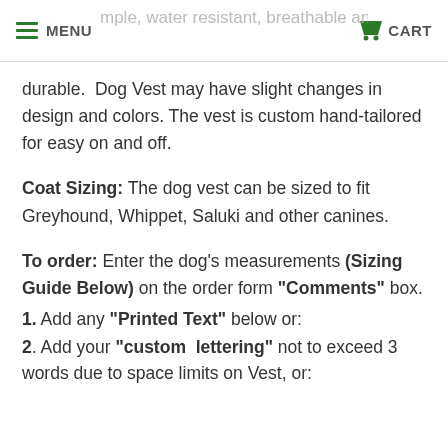MENU | CART
durable.  Dog Vest may have slight changes in design and colors. The vest is custom hand-tailored for easy on and off.
Coat Sizing: The dog vest can be sized to fit Greyhound, Whippet, Saluki and other canines.
To order: Enter the dog's measurements (Sizing Guide Below) on the order form "Comments" box.
1. Add any "Printed Text" below or:
2. Add your "custom  lettering" not to exceed 3 words due to space limits on Vest, or: